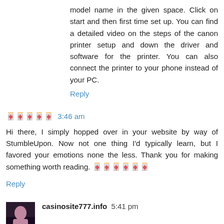model name in the given space. Click on start and then first time set up. You can find a detailed video on the steps of the canon printer setup and down the driver and software for the printer. You can also connect the printer to your phone instead of your PC.
Reply
🀄🀄🀄🀄🀄  3:46 am
Hi there, I simply hopped over in your website by way of StumbleUpon. Now not one thing I'd typically learn, but I favored your emotions none the less. Thank you for making something worth reading. 🀄🀄🀄🀄🀄🀄
Reply
casinosite777.info  5:41 pm
Thanks for sharing this marvelous post.🀄🀄🀄🀄🀄🀄 I m very pleased to read this article.
Reply